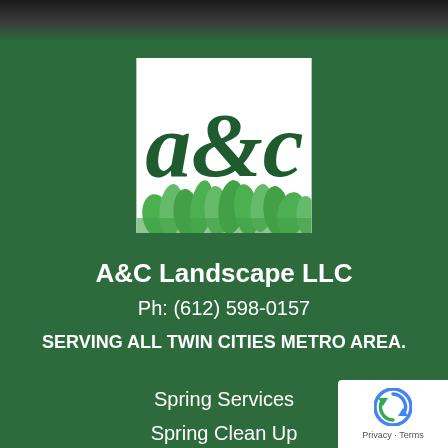[Figure (logo): A&C Landscape LLC logo: white square background with dark green stylized 'a&c' lettering and green grass illustration at the bottom]
A&C Landscape LLC
Ph: (612) 598-0157
SERVING ALL TWIN CITIES METRO AREA.
Spring Services
Spring Clean Up
[Figure (logo): Google reCAPTCHA badge with circular arrow logo and Privacy - Terms text]